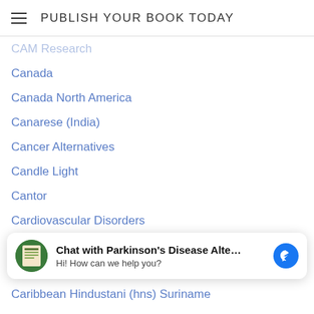PUBLISH YOUR BOOK TODAY
CAM Research
Canada
Canada North America
Canarese (India)
Cancer Alternatives
Candle Light
Cantor
Cardiovascular Disorders
Cards Against Humanity
Caribbean
Caribbean Hindustani (hns) Suriname
Carlene Beverly
Carl Sandburg
Carlus L. Wilmot
[Figure (other): Chat widget overlay: avatar (green book cover), bold text 'Chat with Parkinson's Disease Alte...', subtitle 'Hi! How can we help you?', Facebook Messenger blue circle icon]
Carol Clark Williams
Carolo MacBury